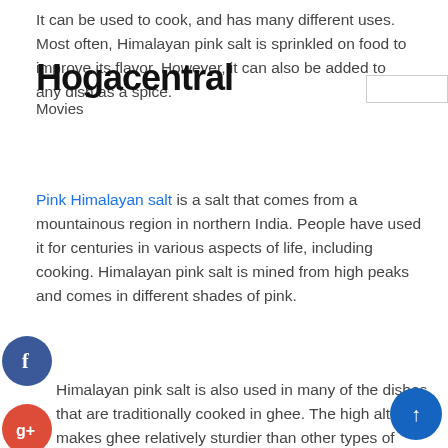It can be used to cook, and has many different uses. Most often, Himalayan pink salt is sprinkled on food to improve its flavor. However, it can also be added to any dish as a spice.
Hogacentral
Movies
Pink Himalayan salt is a salt that comes from a mountainous region in northern India. People have used it for centuries in various aspects of life, including cooking. Himalayan pink salt is mined from high peaks and comes in different shades of pink.
Himalayan pink salt is also used in many of the dishes that are traditionally cooked in ghee. The high altitude makes ghee relatively sturdier than other types of cooking. People who live in high altitude areas rely on ghee as their main source of protein.
Ghee is also used in many of the recipes for which th